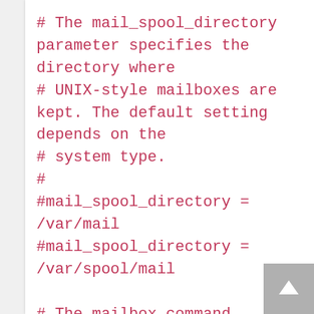# The mail_spool_directory parameter specifies the directory where
# UNIX-style mailboxes are kept. The default setting depends on the
# system type.
#
#mail_spool_directory = /var/mail
#mail_spool_directory = /var/spool/mail

# The mailbox_command parameter specifies the optional external
# command to use instead of mailbox delivery. The command is run as